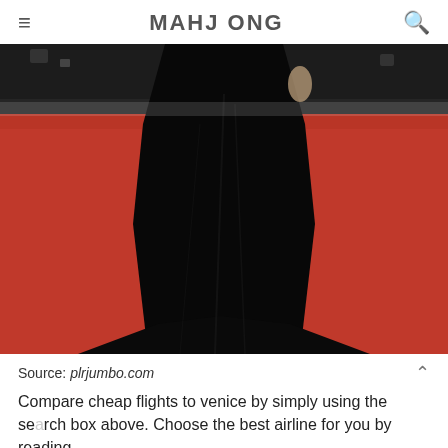MAHJ ONG
[Figure (photo): Person wearing a black gown on a red carpet, showing the lower half of the dress with a long train spreading outward on the red carpet, dark crowd visible in background]
Source: plrjumbo.com
Compare cheap flights to venice by simply using the search box above. Choose the best airline for you by reading